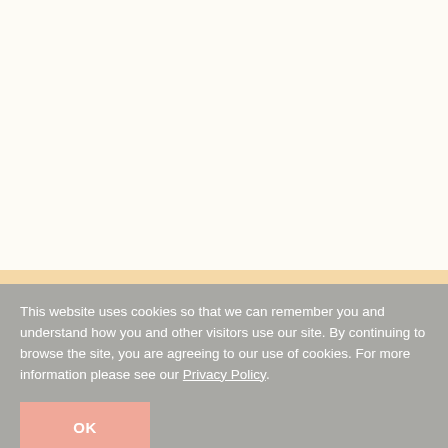[Figure (other): White/cream background area representing webpage content above cookie banner]
This website uses cookies so that we can remember you and understand how you and other visitors use our site. By continuing to browse the site, you are agreeing to our use of cookies. For more information please see our Privacy Policy.
OK